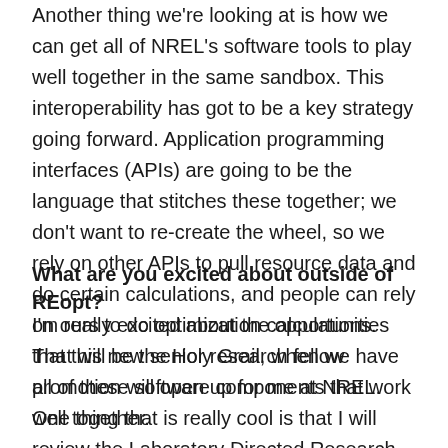Another thing we're looking at is how we can get all of NREL's software tools to play well together in the same sandbox. This interoperability has got to be a key strategy going forward. Application programming interfaces (APIs) are going to be the language that stitches these together; we don't want to re-create the wheel, so we rely on other APIs to pull resource data and do certain calculations, and people can rely on ours to do optimization calculations. That will be the Holy Grail, when we have all of these software components that work well together.
What are you excited about outside of REopt?
I'm really excited about the opportunities that this new senior research fellow promotion will open up for me at NREL. One thing that is really cool is that I will review the Laboratory Directed Research and Development reports and proposals, so I can see all of the great ideas that people are working on at the world's lab. So that will be...